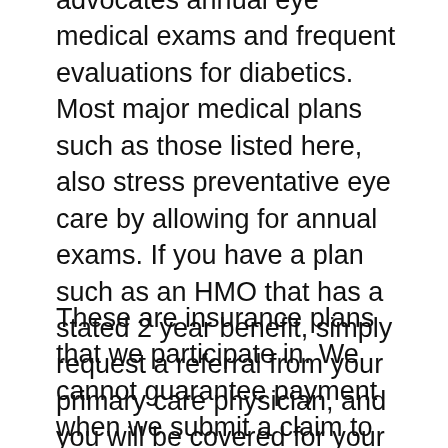advocates annual eye medical exams and frequent evaluations for diabetics. Most major medical plans such as those listed here, also stress preventative eye care by allowing for annual exams. If you have a plan such as an HMO that has a stated 2 year benefit, simply request a referral from your primary care physician, and you will be covered for your annual eye medical exam.
These are insurance plans that we participate in. We cannot guarantee payment when we submit a claim to any of these plans as they are subject to co-payments and deductibles set by the individual plans. Deductible